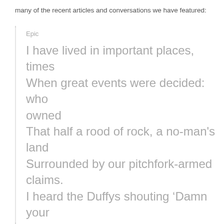many of the recent articles and conversations we have featured:
Epic
I have lived in important places, times
When great events were decided: who owned
That half a rood of rock, a no-man's land
Surrounded by our pitchfork-armed claims.
I heard the Duffys shouting ‘Damn your soul’
And old McCabe, stripped to the waist, seen
Step the plot defying blue cast-steel –
‘Here is the march along these iron